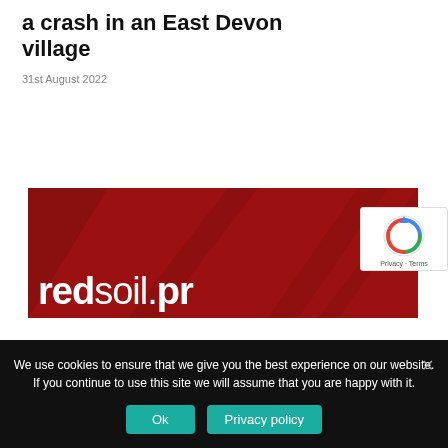a crash in an East Devon village
31st August 2022
[Figure (photo): Red Soil PR advertisement banner showing 'PUBLIC RELATIONS | COMMUNICATIONS CONTENT | CRISIS MANAGEMENT' text above the 'redsoil.pr' logo on a dark red background with decorative shapes]
We use cookies to ensure that we give you the best experience on our website. If you continue to use this site we will assume that you are happy with it.
Ok    Privacy policy